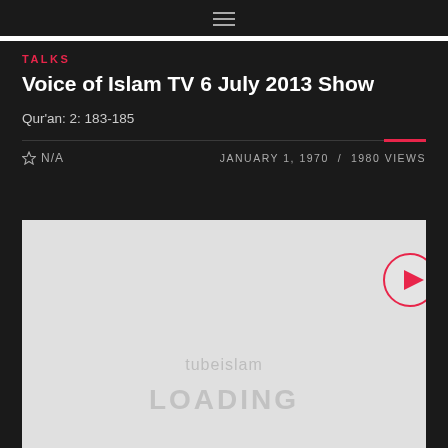[Figure (screenshot): Hamburger menu icon (three horizontal lines) centered at top of dark page]
TALKS
Voice of Islam TV 6 July 2013 Show
Qur'an: 2: 183-185
N/A   JANUARY 1, 1970 / 1980 VIEWS
[Figure (screenshot): Video player loading screen with tubeislam branding and LOADING text, with red circular play button overlay on right side]